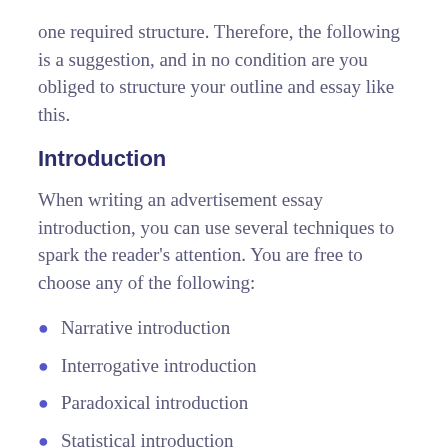one required structure. Therefore, the following is a suggestion, and in no condition are you obliged to structure your outline and essay like this.
Introduction
When writing an advertisement essay introduction, you can use several techniques to spark the reader's attention. You are free to choose any of the following:
Narrative introduction
Interrogative introduction
Paradoxical introduction
Statistical introduction